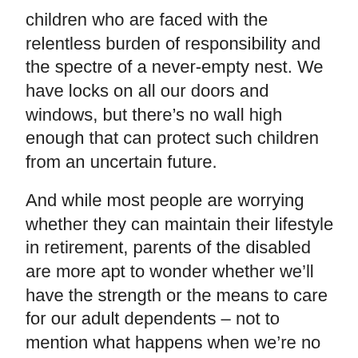children who are faced with the relentless burden of responsibility and the spectre of a never-empty nest. We have locks on all our doors and windows, but there’s no wall high enough that can protect such children from an uncertain future.
And while most people are worrying whether they can maintain their lifestyle in retirement, parents of the disabled are more apt to wonder whether we’ll have the strength or the means to care for our adult dependents – not to mention what happens when we’re no longer around.
That’s why the federal government’s Registered Disability Savings Plan introduced by Finance Minister Jim Flaherty has the potential to change so many lives, both practically and symbolically. In practical terms, the RDSP allows parents of special